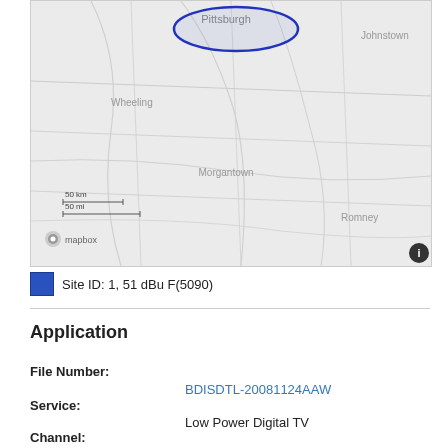[Figure (map): Mapbox map showing western Pennsylvania and surrounding areas including Pittsburgh, Johnstown, Wheeling, Morgantown, and Romney, with a blue outlined circular coverage area centered near Pittsburgh. Scale bars showing 50 km and 50 mi are displayed in the lower left.]
Site ID: 1, 51 dBu F(5090)
Application
File Number:
BDISDTL-20081124AAW
Service:
Low Power Digital TV
Channel:
17
Class: